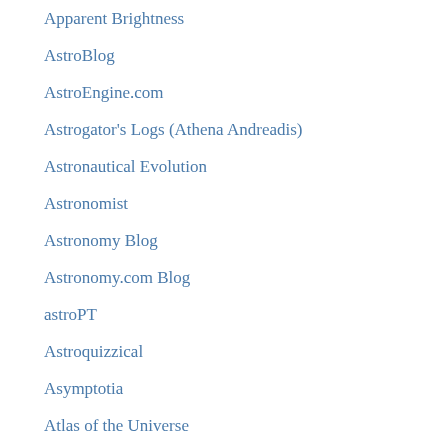Apparent Brightness
AstroBlog
AstroEngine.com
Astrogator's Logs (Athena Andreadis)
Astronautical Evolution
Astronomist
Astronomy Blog
Astronomy.com Blog
astroPT
Astroquizzical
Asymptotia
Atlas of the Universe
B612 Foundation
Bad Astronomy
Beyond Earthly Skies